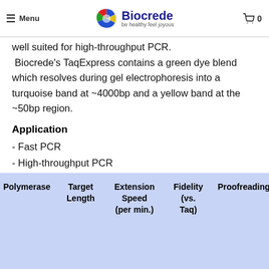Menu | Biocrede be healthy feel joyous | 0
well suited for high-throughput PCR.
 Biocrede's TaqExpress contains a green dye blend which resolves during gel electrophoresis into a turquoise band at ~4000bp and a yellow band at the ~50bp region.
Application
- Fast PCR
- High-throughput PCR
| Polymerase | Target
Length | Extension
Speed
(per min.) | Fidelity
(vs.
Taq) | Proofreading |
| --- | --- | --- | --- | --- |